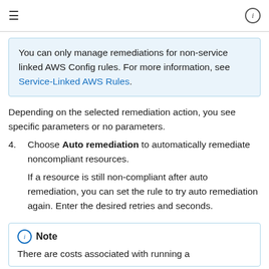≡  ⓘ
You can only manage remediations for non-service linked AWS Config rules. For more information, see Service-Linked AWS Rules.
Depending on the selected remediation action, you see specific parameters or no parameters.
4. Choose Auto remediation to automatically remediate noncompliant resources.
If a resource is still non-compliant after auto remediation, you can set the rule to try auto remediation again. Enter the desired retries and seconds.
Note
There are costs associated with running a